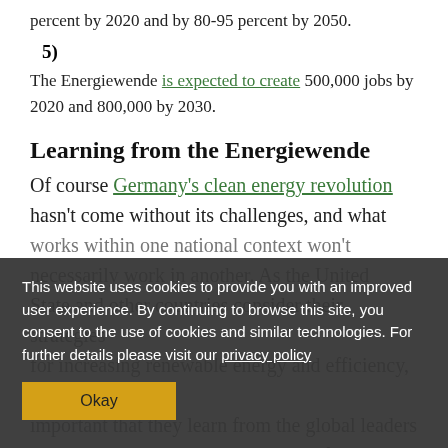percent by 2020 and by 80-95 percent by 2050.
5)
The Energiewende is expected to create 500,000 jobs by 2020 and 800,000 by 2030.
Learning from the Energiewende
Of course Germany's clean energy revolution hasn't come without its challenges, and what works within one national context won't necessarily work in another. As the United State and other countries consider their strategies for increasing renewable energy and efficiency, it's important that they learn from the global leaders already in place. Germany is certainly one of those clean energy leaders to watch.
This website uses cookies to provide you with an improved user experience. By continuing to browse this site, you consent to the use of cookies and similar technologies. For further details please visit our privacy policy